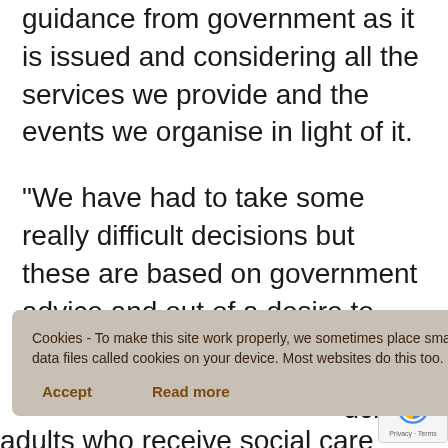guidance from government as it is issued and considering all the services we provide and the events we organise in light of it.
“We have had to take some really difficult decisions but these are based on government advice and out of a desire to protect the health, wellbeing and safety of everyone in the county.
the priority
[Figure (screenshot): Cookie consent overlay banner with text: 'Cookies - To make this site work properly, we sometimes place small data files called cookies on your device. Most websites do this too.' with Accept and Read more buttons.]
uch as
adults who receive social care and looked